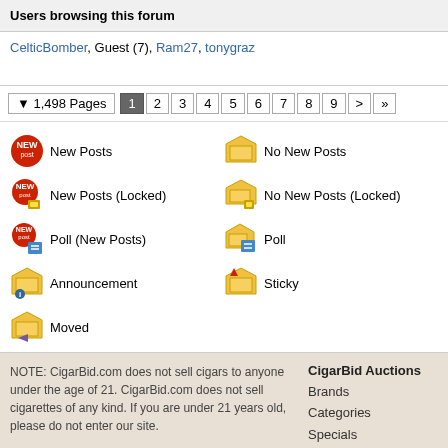Users browsing this forum
CelticBomber, Guest (7), Ram27, tonygraz
▼ 1,498 Pages  1 2 3 4 5 6 7 8 9 > »
New Posts
No New Posts
New Posts (Locked)
No New Posts (Locked)
Poll (New Posts)
Poll
Announcement
Sticky
Moved
NOTE: CigarBid.com does not sell cigars to anyone under the age of 21. CigarBid.com does not sell cigarettes of any kind. If you are under 21 years old, please do not enter our site.
CigarBid Auctions
Brands
Categories
Specials
QuickBuy
Classic
FreeFall
Account Settings
Terms | Privacy | Cont